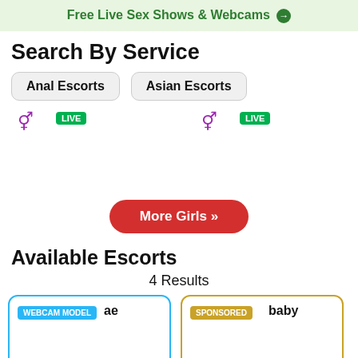Free Live Sex Shows & Webcams →
Search By Service
Anal Escorts
Asian Escorts
[Figure (other): Two escort profile card placeholders with gender icons and LIVE badges]
More Girls »
Available Escorts
4 Results
[Figure (other): Two listing cards: one labeled WEBCAM MODEL with name 'ae', one labeled SPONSORED with name 'baby']